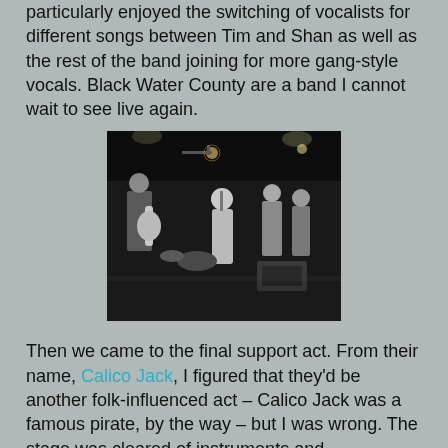particularly enjoyed the switching of vocalists for different songs between Tim and Shan as well as the rest of the band joining for more gang-style vocals. Black Water County are a band I cannot wait to see live again.
[Figure (photo): Black and white concert photo of a band performing on stage. Multiple musicians visible including guitarists and a vocalist, with stage lighting overhead.]
Then we came to the final support act. From their name, Calico Jack, I figured that they'd be another folk-influenced act – Calico Jack was a famous pirate, by the way – but I was wrong. The stage was cleared of instruments and microphones, leaving it looking oddly bare after Black Water